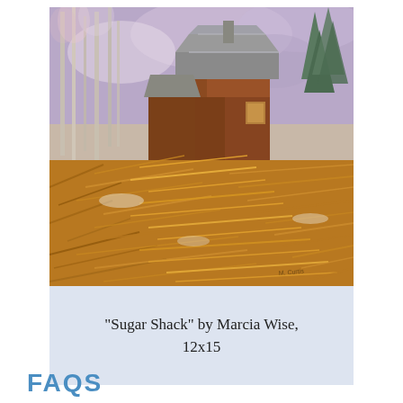[Figure (illustration): A painting of a rustic sugar shack barn with a metal roof, surrounded by golden autumn grasses in the foreground and bare birch trees and evergreens in the background. Warm golden-brown tones dominate the scene. Artist signature visible in lower right corner.]
"Sugar Shack" by Marcia Wise, 12x15
FAQS